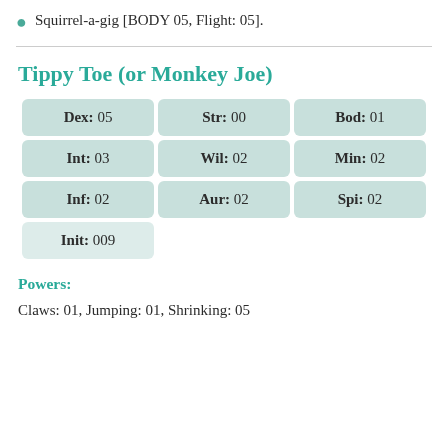Squirrel-a-gig [BODY 05, Flight: 05].
Tippy Toe (or Monkey Joe)
| Dex: 05 | Str: 00 | Bod: 01 |
| Int: 03 | Wil: 02 | Min: 02 |
| Inf: 02 | Aur: 02 | Spi: 02 |
| Init: 009 |  |  |
Powers:
Claws: 01, Jumping: 01, Shrinking: 05